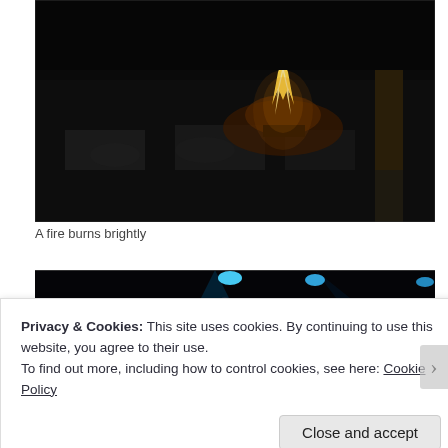[Figure (photo): A dark nighttime scene with a bright fire burning in the center, surrounded by dim structures and seating areas]
A fire burns brightly
[Figure (photo): A dark stage scene with blue spotlights and a person on stage]
Privacy & Cookies: This site uses cookies. By continuing to use this website, you agree to their use.
To find out more, including how to control cookies, see here: Cookie Policy